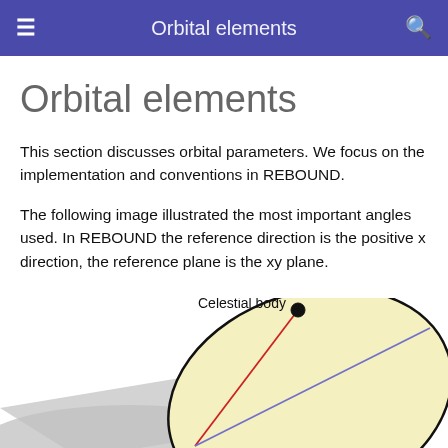Orbital elements
Orbital elements
This section discusses orbital parameters. We focus on the implementation and conventions in REBOUND.
The following image illustrated the most important angles used. In REBOUND the reference direction is the positive x direction, the reference plane is the xy plane.
[Figure (illustration): Diagram of orbital elements showing a celestial body on an elliptical orbit with labeled angles. The ellipse is filled with yellow/cream color. A black dot marks the 'Celestial body' position at upper left of the ellipse. A red line and a blue/purple line extend from the focal point through the ellipse interior. A gray shaded plane section is visible at the lower left. The label 'Celestial body' appears above the black dot.]